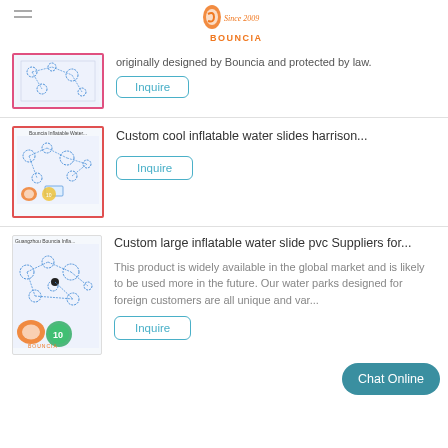Bouncia — Since 2009
originally designed by Bouncia and protected by law.
Inquire
Custom cool inflatable water slides harrison...
Inquire
Custom large inflatable water slide pvc Suppliers for...
This product is widely available in the global market and is likely to be used more in the future. Our water parks designed for foreign customers are all unique and var...
Inquire
Chat Online